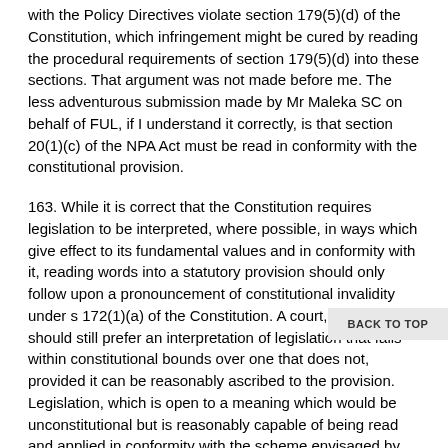with the Policy Directives violate section 179(5)(d) of the Constitution, which infringement might be cured by reading the procedural requirements of section 179(5)(d) into these sections. That argument was not made before me. The less adventurous submission made by Mr Maleka SC on behalf of FUL, if I understand it correctly, is that section 20(1)(c) of the NPA Act must be read in conformity with the constitutional provision.
163. While it is correct that the Constitution requires legislation to be interpreted, where possible, in ways which give effect to its fundamental values and in conformity with it, reading words into a statutory provision should only follow upon a pronouncement of constitutional invalidity under s 172(1)(a) of the Constitution. A court, however, should still prefer an interpretation of legislation that falls within constitutional bounds over one that does not, provided it can be reasonably ascribed to the provision. Legislation, which is open to a meaning which would be unconstitutional but is reasonably capable of being read and applied in conformity with the scheme envisaged by the Constitution, should be so read, but the interpretation and application of it may not be unduly strained.
[62]